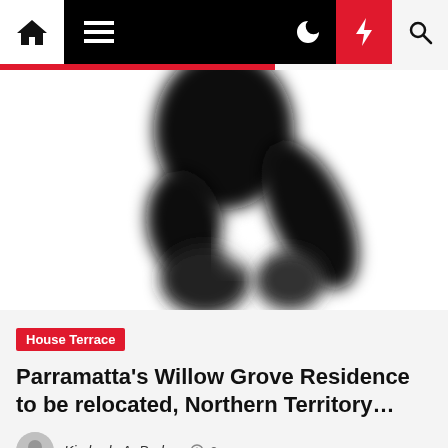[Figure (screenshot): Website navigation bar with home icon, hamburger menu, dark mode toggle, lightning bolt (red background), and search icon on black background]
[Figure (photo): Blurred/silhouetted black and white image showing abstract shapes resembling a person or building, partially cropped]
House Terrace
Parramatta's Willow Grove Residence to be relocated, Northern Territory…
Kimberly A. Parker  2 years ago